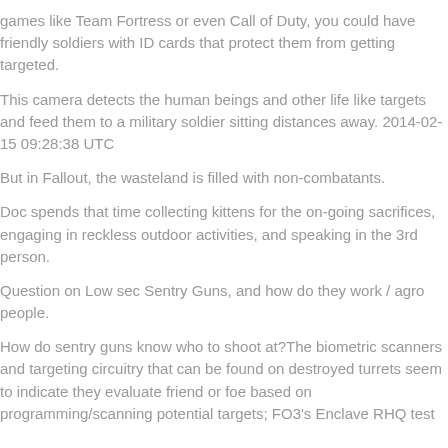games like Team Fortress or even Call of Duty, you could have friendly soldiers with ID cards that protect them from getting targeted.
This camera detects the human beings and other life like targets and feed them to a military soldier sitting distances away. 2014-02-15 09:28:38 UTC
But in Fallout, the wasteland is filled with non-combatants.
Doc spends that time collecting kittens for the on-going sacrifices, engaging in reckless outdoor activities, and speaking in the 3rd person.
Question on Low sec Sentry Guns, and how do they work / agro people.
How do sentry guns know who to shoot at?The biometric scanners and targeting circuitry that can be found on destroyed turrets seem to indicate they evaluate friend or foe based on programming/scanning potential targets; FO3's Enclave RHQ test